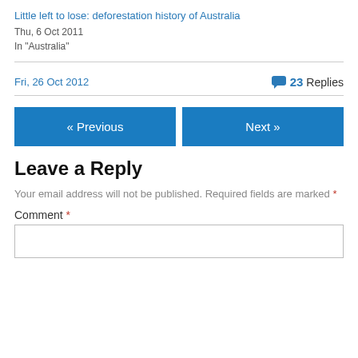Little left to lose: deforestation history of Australia
Thu, 6 Oct 2011
In "Australia"
Fri, 26 Oct 2012   23 Replies
« Previous
Next »
Leave a Reply
Your email address will not be published. Required fields are marked *
Comment *